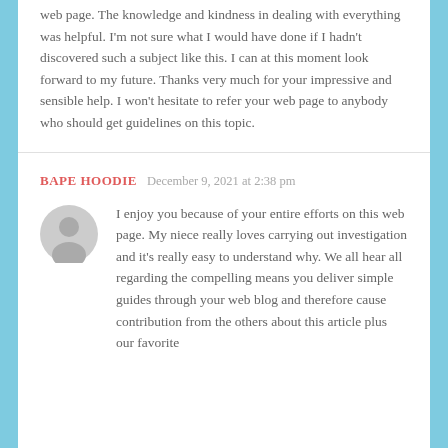web page. The knowledge and kindness in dealing with everything was helpful. I'm not sure what I would have done if I hadn't discovered such a subject like this. I can at this moment look forward to my future. Thanks very much for your impressive and sensible help. I won't hesitate to refer your web page to anybody who should get guidelines on this topic.
BAPE HOODIE   December 9, 2021 at 2:38 pm
[Figure (illustration): Gray circular avatar/user icon placeholder]
I enjoy you because of your entire efforts on this web page. My niece really loves carrying out investigation and it's really easy to understand why. We all hear all regarding the compelling means you deliver simple guides through your web blog and therefore cause contribution from the others about this article plus our favorite